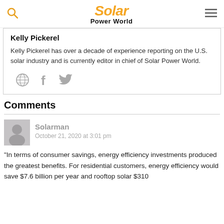Solar Power World
Kelly Pickerel
Kelly Pickerel has over a decade of experience reporting on the U.S. solar industry and is currently editor in chief of Solar Power World.
[Figure (infographic): Social media icons: globe/website, Facebook f, Twitter bird]
Comments
Solarman
October 21, 2020 at 3:01 pm
“In terms of consumer savings, energy efficiency investments produced the greatest benefits. For residential customers, energy efficiency would save $7.6 billion per year and rooftop solar $310